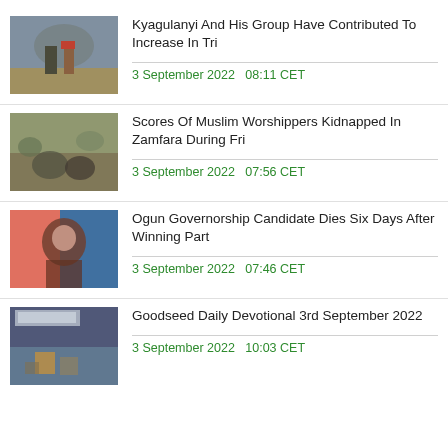[Figure (photo): Two men walking outdoors, one in military uniform]
Kyagulanyi And His Group Have Contributed To Increase In Tri
3 September 2022   08:11 CET
[Figure (photo): People with animals outdoors in a dusty setting]
Scores Of Muslim Worshippers Kidnapped In Zamfara During Fri
3 September 2022   07:56 CET
[Figure (photo): Man seated in front of colorful background]
Ogun Governorship Candidate Dies Six Days After Winning Part
3 September 2022   07:46 CET
[Figure (photo): Religious event with text banner and figurines on table]
Goodseed Daily Devotional 3rd September 2022
3 September 2022   10:03 CET